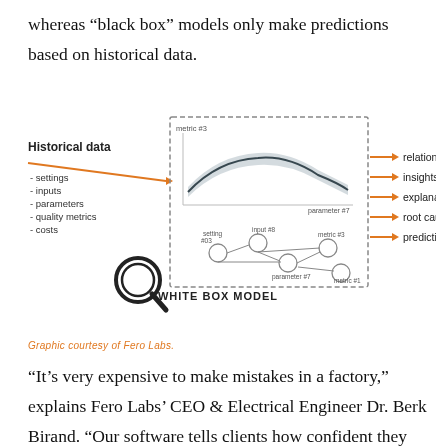whereas “black box” models only make predictions based on historical data.
[Figure (infographic): White box model diagram showing Historical data (settings, inputs, parameters, quality metrics, costs) feeding into a dashed-border box containing a curve graph (metric #3 vs parameter #7) and a network graph, with outputs: relationships, insights, explanations, root causes, predictions. A magnifying glass icon is shown at the lower left of the model box. Label reads WHITE BOX MODEL.]
Graphic courtesy of Fero Labs.
“It’s very expensive to make mistakes in a factory,” explains Fero Labs’ CEO & Electrical Engineer Dr. Berk Birand. “Our software tells clients how confident they are in their predictions, which is very valuable to the engineers. We can